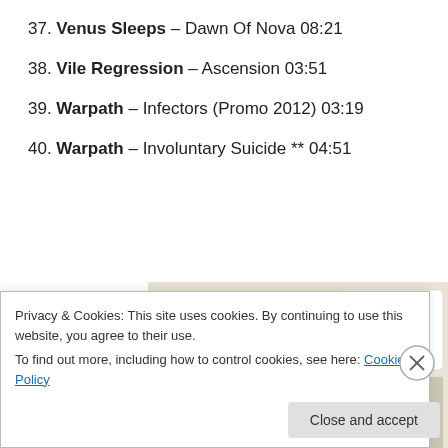37. Venus Sleeps – Dawn Of Nova 08:21
38. Vile Regression – Ascension 03:51
39. Warpath – Infectors (Promo 2012) 03:19
40. Warpath – Involuntary Suicide ** 04:51
[Figure (screenshot): Advertisement banner with text 'than a week', green 'Explore options' button, and website screenshots on beige background]
Privacy & Cookies: This site uses cookies. By continuing to use this website, you agree to their use.
To find out more, including how to control cookies, see here: Cookie Policy
Close and accept